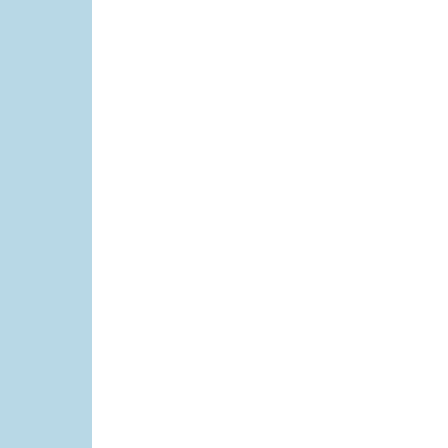countenance, b...
Thank you Lord for your people. Your people have deemed it so. Thank You. Thank You for sa...
Posted by A Walk In...
Labels: a walk in the... God's arm, God's co...
Wednesday, May 29, 2019
Our True Tre...
[Figure (photo): Small photo, partially visible, showing green foliage]